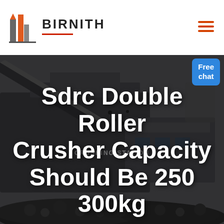[Figure (logo): Birnith company logo: orange and grey building/pillar icon with brand name BIRNITH in bold black letters and red underline, hamburger menu icon top right]
[Figure (photo): Industrial crushing station machinery at night/dusk, dark grey tones, heavy equipment processing coal or stone, text overlay 'CRUSHING STATION']
Sdrc Double Roller Crusher Capacity Should Be 250 300kg